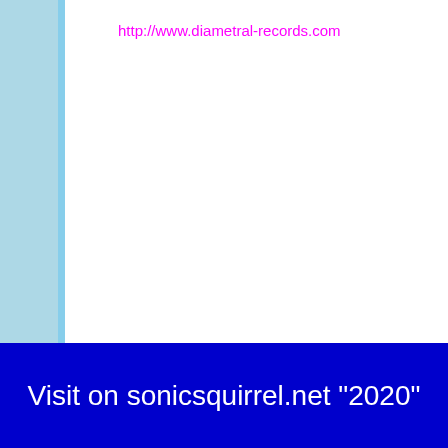http://www.diametral-records.com
Visit on sonicsquirrel.net "2020"